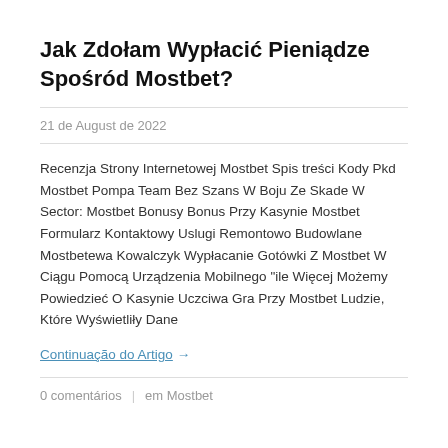Jak Zdołam Wypłacić Pieniądze Spośród Mostbet?
21 de August de 2022
Recenzja Strony Internetowej Mostbet Spis treści Kody Pkd Mostbet Pompa Team Bez Szans W Boju Ze Skade W Sector: Mostbet Bonusy Bonus Przy Kasynie Mostbet Formularz Kontaktowy Uslugi Remontowo Budowlane Mostbetewa Kowalczyk Wypłacanie Gotówki Z Mostbet W Ciągu Pomocą Urządzenia Mobilnego "ile Więcej Możemy Powiedzieć O Kasynie Uczciwa Gra Przy Mostbet Ludzie, Które Wyświetliły Dane
Continuação do Artigo →
0 comentários | em Mostbet